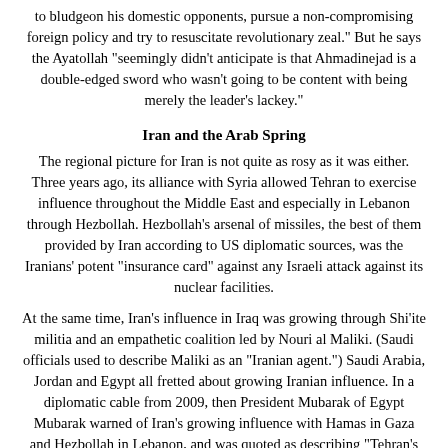to bludgeon his domestic opponents, pursue a non-compromising foreign policy and try to resuscitate revolutionary zeal." But he says the Ayatollah "seemingly didn't anticipate is that Ahmadinejad is a double-edged sword who wasn't going to be content with being merely the leader's lackey."
Iran and the Arab Spring
The regional picture for Iran is not quite as rosy as it was either. Three years ago, its alliance with Syria allowed Tehran to exercise influence throughout the Middle East and especially in Lebanon through Hezbollah. Hezbollah's arsenal of missiles, the best of them provided by Iran according to US diplomatic sources, was the Iranians' potent "insurance card" against any Israeli attack against its nuclear facilities.
At the same time, Iran's influence in Iraq was growing through Shi'ite militia and an empathetic coalition led by Nouri al Maliki. (Saudi officials used to describe Maliki as an "Iranian agent.") Saudi Arabia, Jordan and Egypt all fretted about growing Iranian influence. In a diplomatic cable from 2009, then President Mubarak of Egypt Mubarak warned of Iran's growing influence with Hamas in Gaza and Hezbollah in Lebanon, and was quoted as describing "Tehran's hand moving with ease throughout the region, from the Gulf to Morocco."
Today, the picture is changing. Publishing Ahmadinejad's headline-grabbing